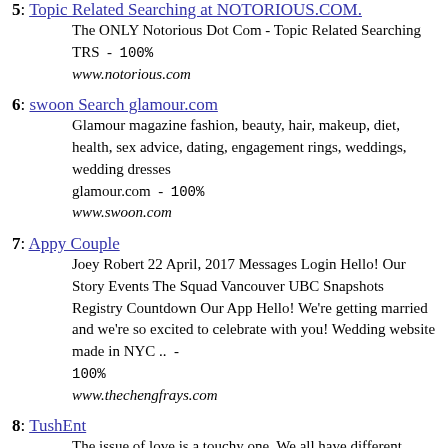5: Topic Related Searching at NOTORIOUS.COM. The ONLY Notorious Dot Com - Topic Related Searching TRS - 100% www.notorious.com
6: swoon Search glamour.com Glamour magazine fashion, beauty, hair, makeup, diet, health, sex advice, dating, engagement rings, weddings, wedding dresses glamour.com - 100% www.swoon.com
7: Appy Couple Joey Robert 22 April, 2017 Messages Login Hello! Our Story Events The Squad Vancouver UBC Snapshots Registry Countdown Our App Hello! We're getting married and we're so excited to celebrate with you! Wedding website made in NYC .. - 100% www.thechengfrays.com
8: TushEnt The issue of love is a touchy one. We all have different ideas of what love is. In a place as diverse as Naija, love means many different